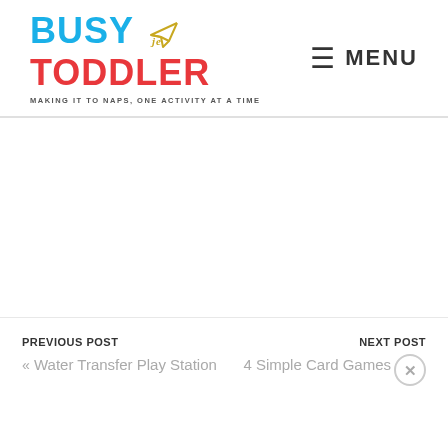BUSY TODDLER — MAKING IT TO NAPS, ONE ACTIVITY AT A TIME — MENU
PREVIOUS POST « Water Transfer Play Station | NEXT POST 4 Simple Card Games